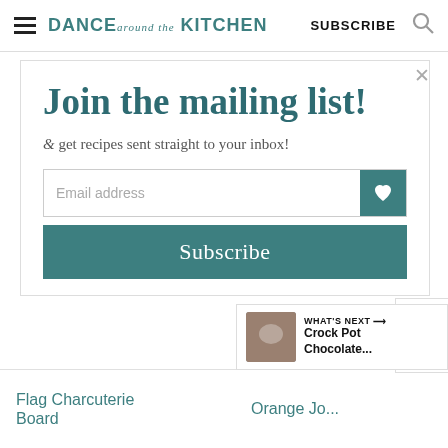DANCE around the KITCHEN  SUBSCRIBE
Join the mailing list!
& get recipes sent straight to your inbox!
Email address
Subscribe
178
Flag Charcuterie Board
Orange Jo...
WHAT'S NEXT → Crock Pot Chocolate...